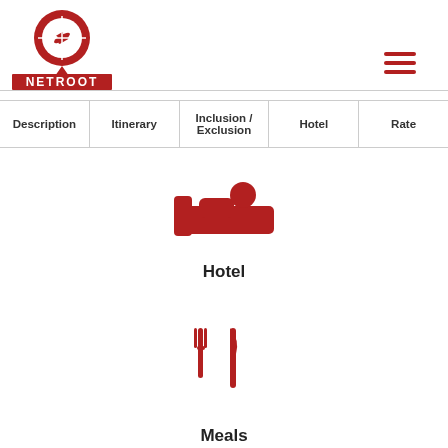[Figure (logo): Netroot travel logo with a red map pin containing an airplane silhouette, with NETROOT text in red on white background]
[Figure (illustration): Hamburger menu icon with three dark red horizontal lines]
Description | Itinerary | Inclusion / Exclusion | Hotel | Rate
[Figure (illustration): Red hotel/bed icon showing a person lying in a bed]
Hotel
[Figure (illustration): Red fork and knife dining icon]
Meals